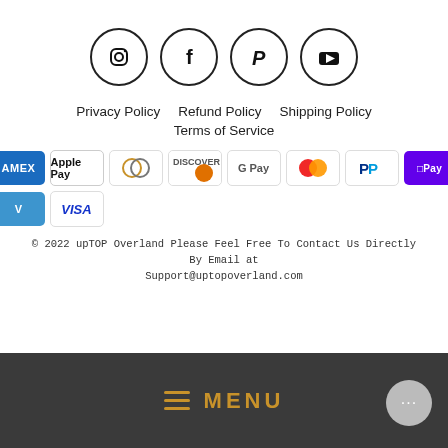[Figure (illustration): Four social media icons in circles: Instagram, Facebook, Pinterest, YouTube]
Privacy Policy   Refund Policy   Shipping Policy
Terms of Service
[Figure (illustration): Payment method icons: Amex, Apple Pay, Diners, Discover, Google Pay, Mastercard, PayPal, Shop Pay, Venmo, Visa]
© 2022 upTOP Overland Please Feel Free To Contact Us Directly By Email at Support@uptopoverland.com
MENU